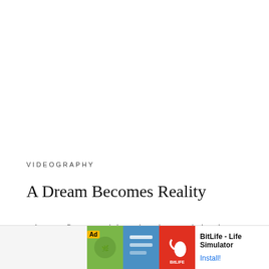VIDEOGRAPHY
A Dream Becomes Reality
When we first started dreaming about and planning our wedding, sticking to a budget that would allow us to have a fantastic event without draining our savings and that was a priority. W hing out
[Figure (screenshot): Mobile advertisement banner for BitLife - Life Simulator app with Ad label, colorful app icon images, app name and Install button]